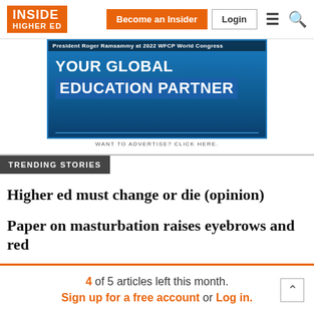INSIDE HIGHER ED | Become an Insider | Login
[Figure (photo): Inside Higher Ed advertisement banner showing 'YOUR GLOBAL EDUCATION PARTNER' with blue background and President Roger Ramsammy at 2022 WFCP World Congress text at top]
WANT TO ADVERTISE? CLICK HERE.
TRENDING STORIES
Higher ed must change or die (opinion)
Paper on masturbation raises eyebrows and red
4 of 5 articles left this month. Sign up for a free account or Log in.